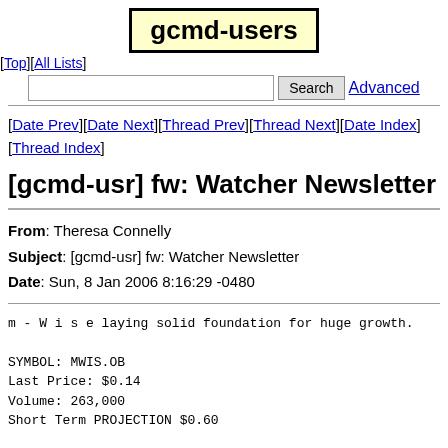gcmd-users
[Top][All Lists]
[Date Prev][Date Next][Thread Prev][Thread Next][Date Index][Thread Index]
[gcmd-usr] fw: Watcher Newsletter
| From | Theresa Connelly |
| Subject | [gcmd-usr] fw: Watcher Newsletter |
| Date | Sun, 8 Jan 2006 8:16:29 -0480 |
m - W i s e laying solid foundation for huge growth.

SYMBOL: MWIS.OB
Last Price: $0.14
Volume: 263,000
Short Term PROJECTION $0.60

MWIS has been landing one contract after another with its Management and Delivery Platform" Providing ASP solutions providers.